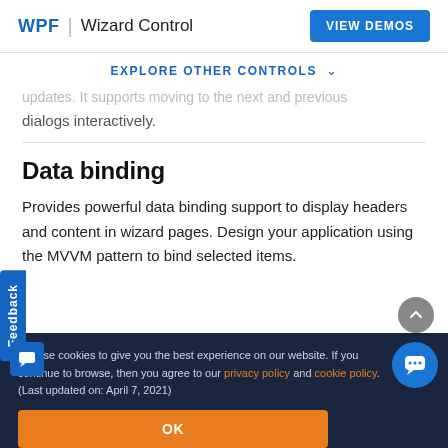WPF | Wizard Control  VIEW DEMOS
EXPLORE OTHER CONTROLS ˅
updates. It supports moving to the next and previous dialogs interactively.
Data binding
Provides powerful data binding support to display headers and content in wizard pages. Design your application using the MVVM pattern to bind selected items.
We use cookies to give you the best experience on our website. If you continue to browse, then you agree to our privacy policy and cookie policy. (Last updated on: April 7, 2021)
OK